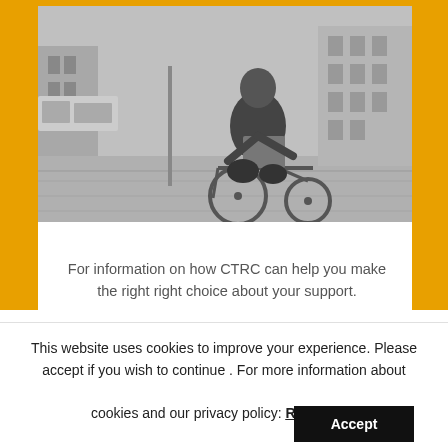[Figure (photo): Black and white photo of a young man in a wheelchair holding a folder/binder, outdoors in an urban setting with buildings and a street scene in the background.]
For information on how CTRC can help you make the right right choice about your support.
Find out more
This website uses cookies to improve your experience. Please accept if you wish to continue . For more information about cookies and our privacy policy: Read More  Accept